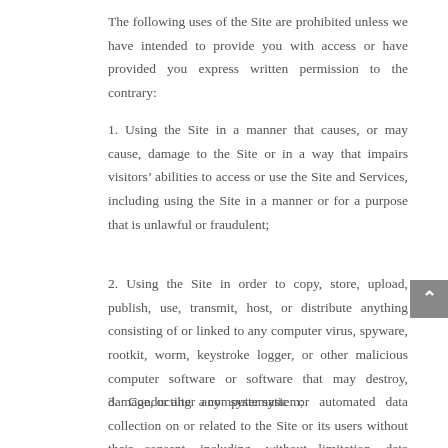The following uses of the Site are prohibited unless we have intended to provide you with access or have provided you express written permission to the contrary:
1. Using the Site in a manner that causes, or may cause, damage to the Site or in a way that impairs visitors’ abilities to access or use the Site and Services, including using the Site in a manner or for a purpose that is unlawful or fraudulent;
2. Using the Site in order to copy, store, upload, publish, use, transmit, host, or distribute anything consisting of or linked to any computer virus, spyware, rootkit, worm, keystroke logger, or other malicious computer software or software that may destroy, damage, or alter a computer system;
3. Conducting any systematic or automated data collection on or related to the Site or its users without their consent, including, without limitation, data mining, data extraction,